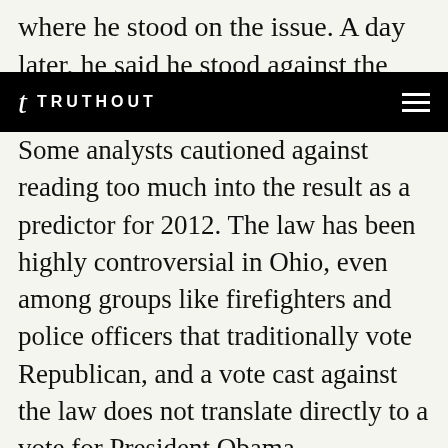where he stood on the issue. A day later, he said he stood against the labor unions.
TRUTHOUT
Some analysts cautioned against reading too much into the result as a predictor for 2012. The law has been highly controversial in Ohio, even among groups like firefighters and police officers that traditionally vote Republican, and a vote cast against the law does not translate directly to a vote for President Obama.
“This is not a purely partisan issue,” said Gene Beaupre, a political science professor at Xavier University. “It has merits on its substance.”